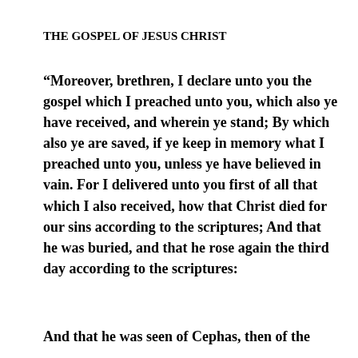THE GOSPEL OF JESUS CHRIST
“Moreover, brethren, I declare unto you the gospel which I preached unto you, which also ye have received, and wherein ye stand; By which also ye are saved, if ye keep in memory what I preached unto you, unless ye have believed in vain. For I delivered unto you first of all that which I also received, how that Christ died for our sins according to the scriptures; And that he was buried, and that he rose again the third day according to the scriptures:
And that he was seen of Cephas, then of the